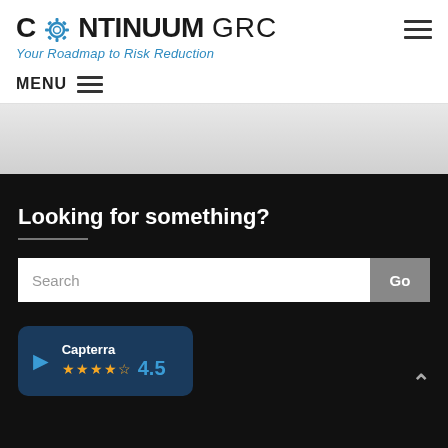[Figure (logo): Continuum GRC logo with gear icon replacing the O in Continuum, followed by GRC in lighter weight. Tagline: Your Roadmap to Risk Reduction in blue italic below.]
[Figure (other): Hamburger menu icon (three horizontal lines) in top-right corner of header]
MENU
[Figure (other): Gray gradient banner section below menu bar]
Looking for something?
[Figure (other): Search bar with placeholder text 'Search' and a gray 'Go' button on the right]
[Figure (other): Capterra badge showing 4.5 star rating with dark blue background, arrow icon, and orange stars]
[Figure (other): Up-arrow chevron in bottom-right of dark section]